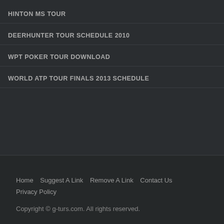HINTON MS TOUR
DEERHUNTER TOUR SCHEDULE 2010
WPT POKER TOUR DOWNLOAD
WORLD ATP TOUR FINALS 2013 SCHEDULE
Home  Suggest A Link  Remove A Link  Contact Us  Privacy Policy

Copyright © g-turs.com. All rights reserved.